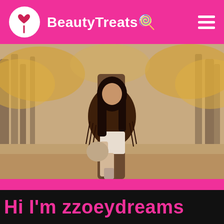BeautyTreats🍭
[Figure (photo): A young woman with long dark hair wearing a dark brown fringed jacket and white skirt/shorts, leaning against a tree trunk in an autumn forest park with golden-leafed trees and fallen leaves on the ground, holding a handbag]
Hi I'm zzoeydreams